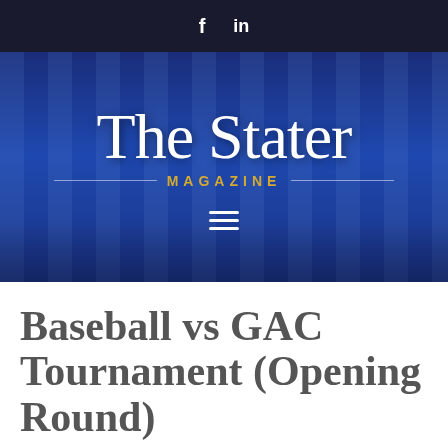f  in
[Figure (logo): The Stater Magazine logo on a blue background with architectural columns. White serif text 'The Stater' with gold 'MAGAZINE' subtitle flanked by horizontal rules. Hamburger menu icon below.]
Baseball vs GAC Tournament (Opening Round)